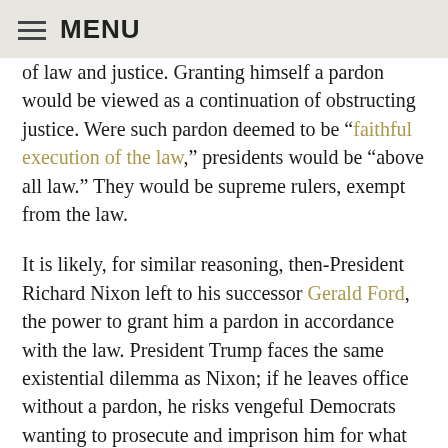MENU
of law and justice. Granting himself a pardon would be viewed as a continuation of obstructing justice. Were such pardon deemed to be “faithful execution of the law,” presidents would be “above all law.” They would be supreme rulers, exempt from the law.
It is likely, for similar reasoning, then-President Richard Nixon left to his successor Gerald Ford, the power to grant him a pardon in accordance with the law. President Trump faces the same existential dilemma as Nixon; if he leaves office without a pardon, he risks vengeful Democrats wanting to prosecute and imprison him for what